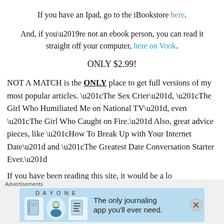If you have an Ipad, go to the iBookstore here.
And, if you're not an ebook person, you can read it straight off your computer, here on Vook.
ONLY $2.99!
NOT A MATCH is the ONLY place to get full versions of my most popular articles. “The Sex Crier”, “The Girl Who Humiliated Me on National TV”, even “The Girl Who Caught on Fire.” Also, great advice pieces, like “How To Break Up with Your Internet Date” and “The Greatest Date Conversation Starter Ever.”
[Figure (other): Advertisement banner for Day One journaling app: 'The only journaling app you’ll ever need.']